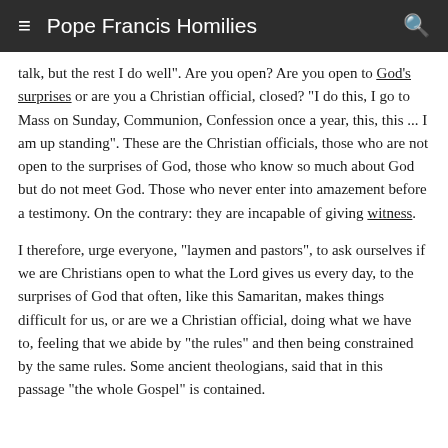≡  Pope Francis Homilies
talk, but the rest I do well". Are you open? Are you open to God's surprises or are you a Christian official, closed? "I do this, I go to Mass on Sunday, Communion, Confession once a year, this, this ... I am up standing". These are the Christian officials, those who are not open to the surprises of God, those who know so much about God but do not meet God. Those who never enter into amazement before a testimony. On the contrary: they are incapable of giving witness.
I therefore, urge everyone, "laymen and pastors", to ask ourselves if we are Christians open to what the Lord gives us every day, to the surprises of God that often, like this Samaritan, makes things difficult for us, or are we a Christian official, doing what we have to, feeling that we abide by "the rules" and then being constrained by the same rules. Some ancient theologians, said that in this passage "the whole Gospel" is contained.